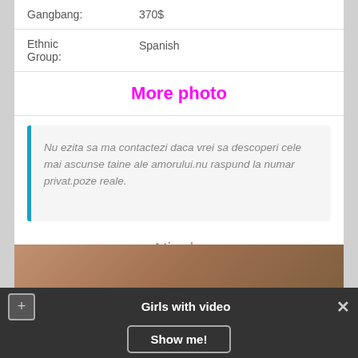| Gangbang: | 370$ |
| Ethnic Group: | Spanish |
More photo
Nu ezita sa ma contactezi daca vrei sa descoperi cele mai ascunse taine ale amorului.nu raspund la numar privat.poze reale.
Nicole
[Figure (photo): Partial photo of a person, cropped at bottom of page]
Girls with video
Show me!